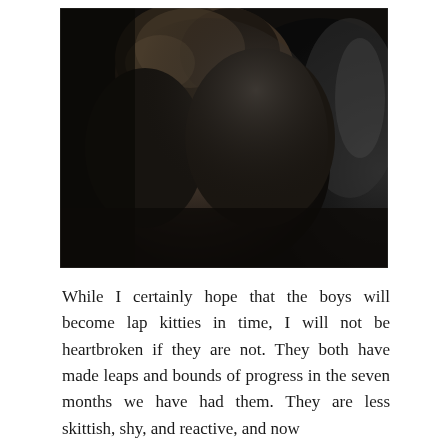[Figure (photo): A dark/black cat viewed from behind, sitting on or against a dark leather surface. The cat's fur is dark brown-black and fluffy. The background is dark leather with a shiny texture.]
While I certainly hope that the boys will become lap kitties in time, I will not be heartbroken if they are not. They both have made leaps and bounds of progress in the seven months we have had them. They are less skittish, shy, and reactive, and now